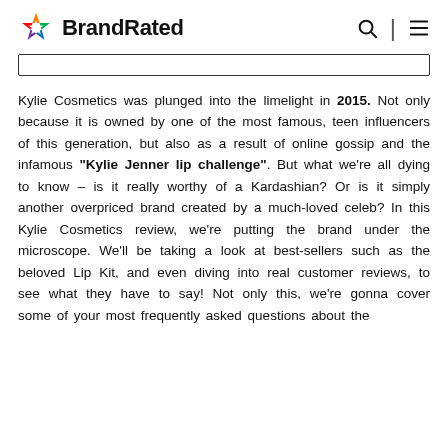BrandRated
Kylie Cosmetics was plunged into the limelight in 2015. Not only because it is owned by one of the most famous, teen influencers of this generation, but also as a result of online gossip and the infamous "Kylie Jenner lip challenge". But what we're all dying to know – is it really worthy of a Kardashian? Or is it simply another overpriced brand created by a much-loved celeb? In this Kylie Cosmetics review, we're putting the brand under the microscope. We'll be taking a look at best-sellers such as the beloved Lip Kit, and even diving into real customer reviews, to see what they have to say! Not only this, we're gonna cover some of your most frequently asked questions about the